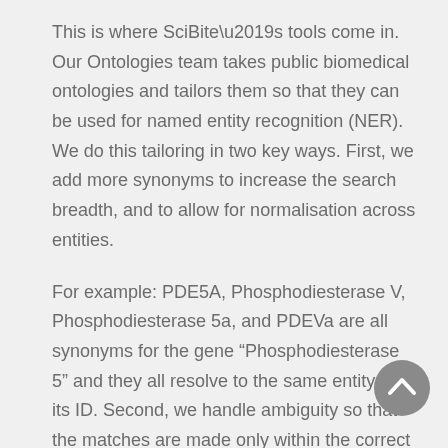This is where SciBite's tools come in. Our Ontologies team takes public biomedical ontologies and tailors them so that they can be used for named entity recognition (NER). We do this tailoring in two key ways. First, we add more synonyms to increase the search breadth, and to allow for normalisation across entities.
For example: PDE5A, Phosphodiesterase V, Phosphodiesterase 5a, and PDEVa are all synonyms for the gene “Phosphodiesterase 5” and they all resolve to the same entity via its ID. Second, we handle ambiguity so that the matches are made only within the correct contexts, so ‘EGFR’ will match to either ‘Epidermal growth factor receptor’ or ‘e-
[Figure (other): A circular grey scroll-to-top button with an upward-pointing chevron arrow icon.]